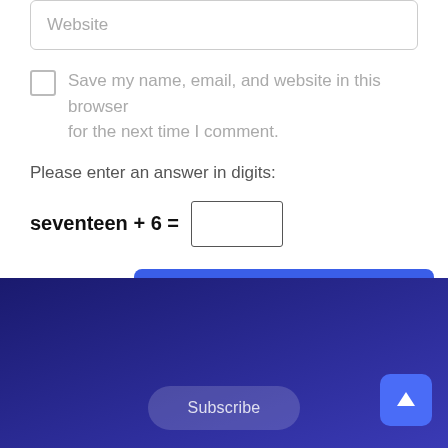Website
Save my name, email, and website in this browser for the next time I comment.
Please enter an answer in digits:
Post Comment
Subscribe